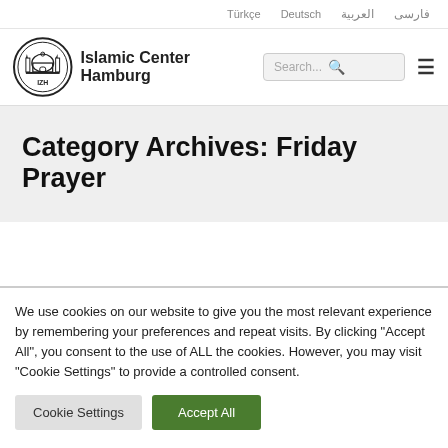Türkçe   Deutsch   العربية   فارسی
[Figure (logo): Islamic Center Hamburg circular logo with mosque illustration and IZH text]
Islamic Center Hamburg
Category Archives: Friday Prayer
We use cookies on our website to give you the most relevant experience by remembering your preferences and repeat visits. By clicking "Accept All", you consent to the use of ALL the cookies. However, you may visit "Cookie Settings" to provide a controlled consent.
Cookie Settings   Accept All